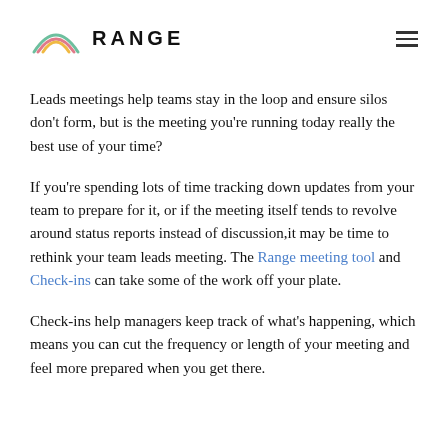RANGE
Leads meetings help teams stay in the loop and ensure silos don’t form, but is the meeting you’re running today really the best use of your time?
If you’re spending lots of time tracking down updates from your team to prepare for it, or if the meeting itself tends to revolve around status reports instead of discussion,it may be time to rethink your team leads meeting. The Range meeting tool and Check-ins can take some of the work off your plate.
Check-ins help managers keep track of what’s happening, which means you can cut the frequency or length of your meeting and feel more prepared when you get there.